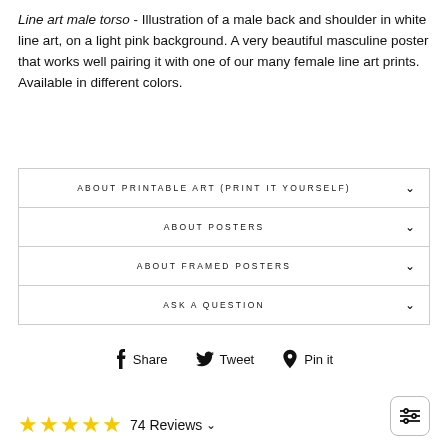Line art male torso - Illustration of a male back and shoulder in white line art, on a light pink background. A very beautiful masculine poster that works well pairing it with one of our many female line art prints. Available in different colors.
ABOUT PRINTABLE ART (PRINT IT YOURSELF)
ABOUT POSTERS
ABOUT FRAMED POSTERS
ASK A QUESTION
Share  Tweet  Pin it
74 Reviews